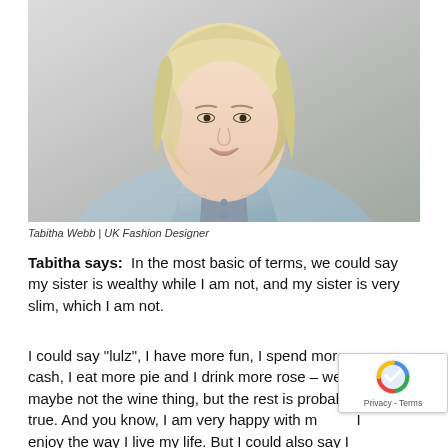[Figure (photo): Portrait photo of Tabitha Webb, a blonde woman wearing a light blue denim shirt, smiling, against a light gray background.]
Tabitha Webb | UK Fashion Designer
Tabitha says:  In the most basic of terms, we could say my sister is wealthy while I am not, and my sister is very slim, which I am not.
I could say "lulz", I have more fun, I spend more cash, I eat more pie and I drink more rose – well, maybe not the wine thing, but the rest is probably true. And you know, I am very happy with my life, I enjoy the way I live my life. But I could also say I am a lot fitter than my sister – I train a lot and I LOVE it. I have always been someone who loves to get dirty in the great outdoors, and who really loves